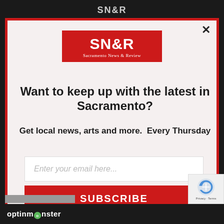[Figure (logo): SN&R Sacramento News & Review logo on dark top bar]
[Figure (logo): SN&R Sacramento News & Review red logo block inside modal]
Want to keep up with the latest in Sacramento?
Get local news, arts and more.  Every Thursday
Enter your email here...
SUBSCRIBE
[Figure (logo): OptinMonster logo in black bottom bar]
[Figure (other): reCAPTCHA Privacy - Terms badge]